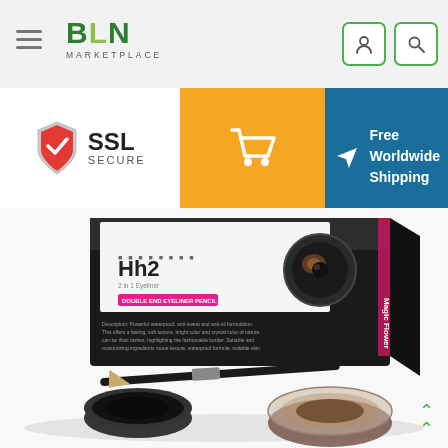BLN MARKETPLACE navigation bar with hamburger menu, logo, user and search icons
[Figure (screenshot): SSL Secure badge on left, orange shopping cart button in center, Free Worldwide Shipping banner on right (blue background with airplane icon)]
[Figure (photo): Product photo showing Hh2 24h double-ended eyeliner gel set in black box with two gel pots (black and brown) and a brush applicator, on white background]